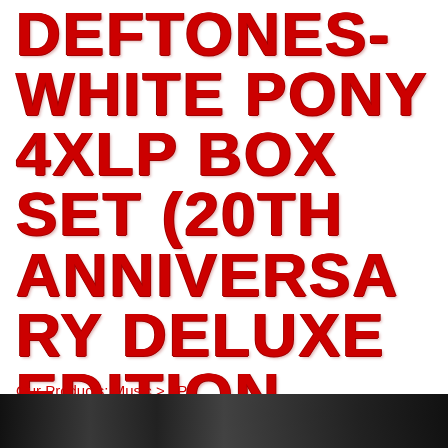DEFTONES- WHITE PONY 4XLP BOX SET (20TH ANNIVERSARY DELUXE EDITION- COMES WITH EXCLUSIVE LITHOGRAPH)
Our Products: Music > LPs
[Figure (photo): Dark/black image strip at bottom of page, appears to be a product photo cropped at the bottom edge]